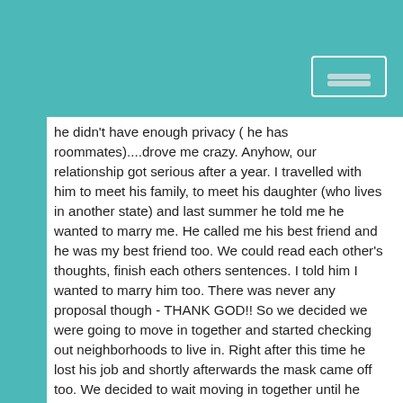he didn't have enough privacy ( he has roommates)....drove me crazy. Anyhow, our relationship got serious after a year. I travelled with him to meet his family, to meet his daughter (who lives in another state) and last summer he told me he wanted to marry me. He called me his best friend and he was my best friend too. We could read each other's thoughts, finish each others sentences. I told him I wanted to marry him too. There was never any proposal though - THANK GOD!! So we decided we were going to move in together and started checking out neighborhoods to live in. Right after this time he lost his job and shortly afterwards the mask came off too. We decided to wait moving in together until he found another job. He was having financial problems and hurting so I lent him money. Very stupid of me, I